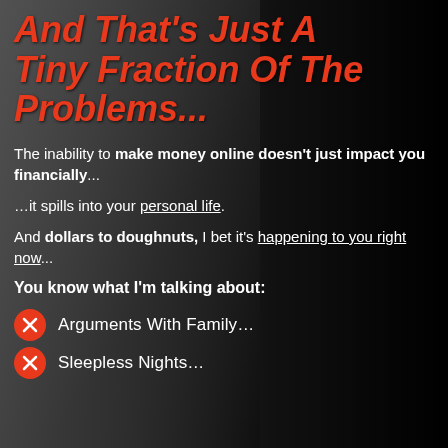And That's Just A Tiny Fraction Of The Problems...
The inability to make money online doesn't just impact you financially...
…it spills into your personal life.
And dollars to doughnuts, I bet it's happening to you right now...
You know what I'm talking about:
Arguments With Family…
Sleepless Nights…